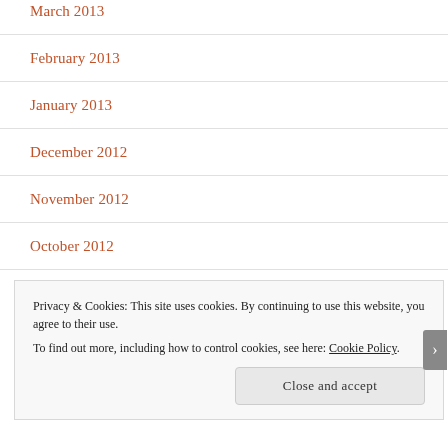March 2013
February 2013
January 2013
December 2012
November 2012
October 2012
September 2012
Privacy & Cookies: This site uses cookies. By continuing to use this website, you agree to their use.
To find out more, including how to control cookies, see here: Cookie Policy